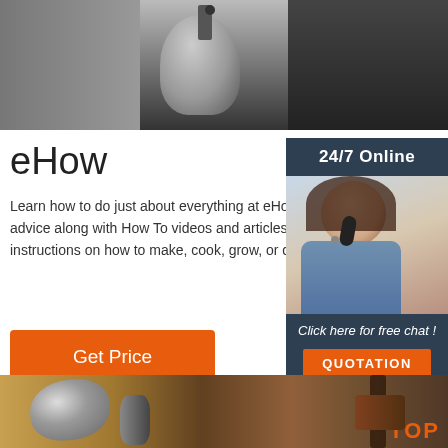[Figure (photo): Machinery or industrial equipment close-up photo at top of page]
eHow
Learn how to do just about everything at eHow. Find expert advice along with How To videos and articles, including instructions on how to make, cook, grow, or do almost anything.
[Figure (infographic): Advertisement sidebar with '24/7 Online' text, woman with headset, 'Click here for free chat!' and QUOTATION button]
[Figure (photo): Close-up industrial/mechanical photo at bottom with TOP logo overlay]
[Figure (photo): Get Price orange button]